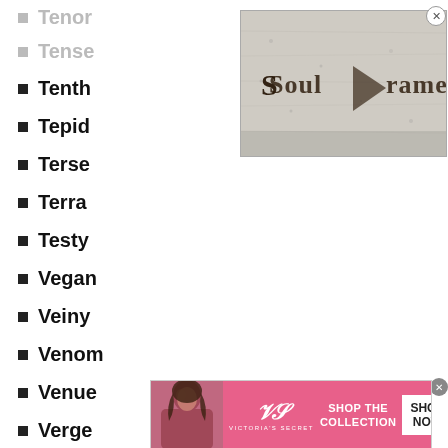Tenor
Tense
Tenth
Tepid
Terse
Terra
Testy
Vegan
Veiny
Venom
Venue
Verge
Verse
Ver
[Figure (screenshot): SoulFrame video thumbnail with medieval-style logo text on a stone-textured background with a play button]
[Figure (screenshot): Victoria's Secret advertisement banner: Shop The Collection - Shop Now]